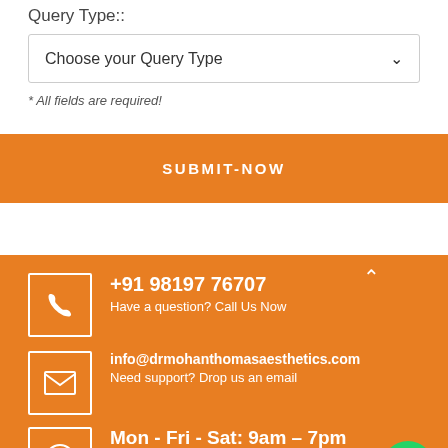Query Type::
Choose your Query Type
* All fields are required!
SUBMIT-NOW
+91 98197 76707
Have a question? Call Us Now
info@drmohanthomasaesthetics.com
Need support? Drop us an email
Mon - Fri - Sat: 9am - 7pm
Sun Closed